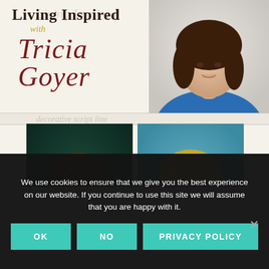[Figure (photo): Podcast cover art for 'Living Inspired with Tricia Goyer' showing the host (a smiling brunette woman in a blue top) in the top-right area over a cream/beige background with the show title displayed in stylized typography. Below are two guest headshots side by side: a brunette woman on the left and a blonde woman on the right.]
We use cookies to ensure that we give you the best experience on our website. If you continue to use this site we will assume that you are happy with it.